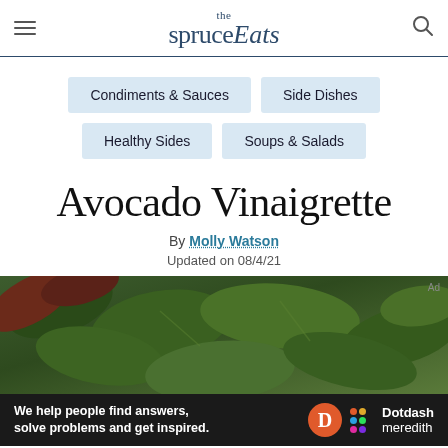the spruce Eats
Condiments & Sauces
Side Dishes
Healthy Sides
Soups & Salads
Avocado Vinaigrette
By Molly Watson
Updated on 08/4/21
[Figure (photo): Close-up photo of mixed salad greens]
We help people find answers, solve problems and get inspired. Dotdash meredith